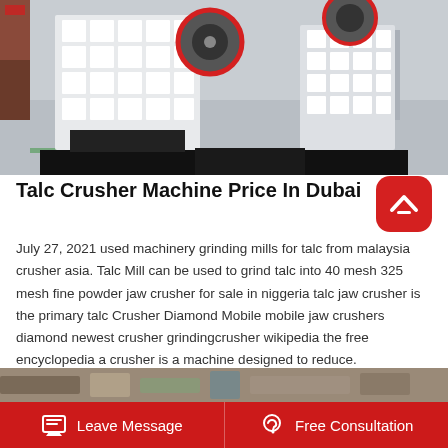[Figure (photo): Industrial jaw crusher machines in a factory setting, large white rectangular machines with grid panels on black steel bases, red flywheels visible at top]
Talc Crusher Machine Price In Dubai
July 27, 2021 used machinery grinding mills for talc from malaysia crusher asia. Talc Mill can be used to grind talc into 40 mesh 325 mesh fine powder jaw crusher for sale in niggeria talc jaw crusher is the primary talc Crusher Diamond Mobile mobile jaw crushers diamond newest crusher grindingcrusher wikipedia the free encyclopedia a crusher is a machine designed to reduce.
[Figure (photo): Partial view of industrial machinery, bottom strip of the page]